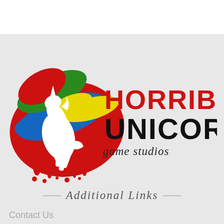[Figure (logo): Horrible Unicorn Game Studios logo: a white unicorn rearing up against a colorful paint splash background (red, blue, green, yellow), with 'HORRIBLE' in red bold text, 'UNICORN' in large black bold text, and 'game studios' in smaller black serif text below]
— Additional Links —
Contact Us